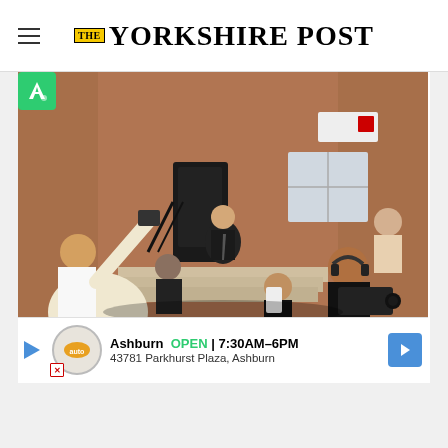THE YORKSHIRE POST
[Figure (photo): Press conference scene outside a red brick building. A man in a dark suit sits on steps reading a statement while surrounded by journalists, photographers and camera operators recording him.]
Picture Police crime commissioner Mark Burns-Williamson giving a press conference in Wakefield...
Ashburn OPEN 7:30AM–6PM 43781 Parkhurst Plaza, Ashburn